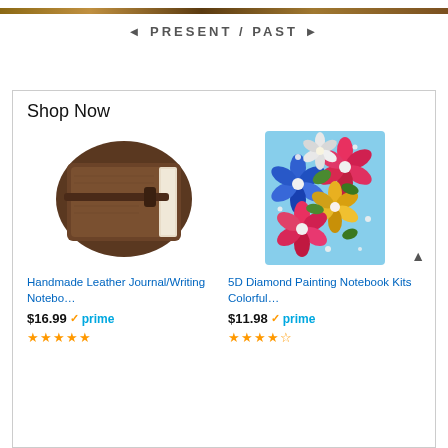[Figure (photo): Narrow horizontal strip showing a landscape/nature photo at the very top of the page]
◄ PRESENT / PAST ►
Shop Now
[Figure (photo): Handmade brown leather journal/notebook product photo]
Handmade Leather Journal/Writing Notebo…
$16.99 ✓prime
[Figure (photo): 5D Diamond Painting colorful floral notebook kit product photo]
5D Diamond Painting Notebook Kits Colorful…
$11.98 ✓prime